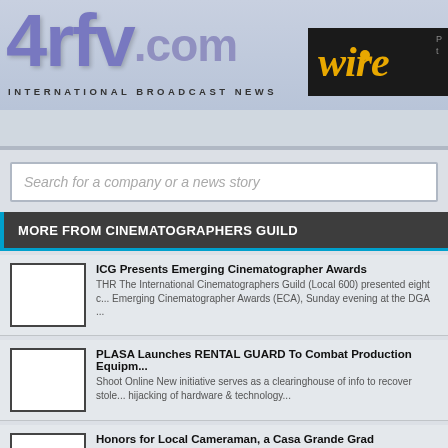[Figure (logo): 4rfv.com International Broadcast News logo with wire box]
4rfv.com INTERNATIONAL BROADCAST NEWS wire
europe  north america  asia
Search for a company or a news story
MORE FROM CINEMATOGRAPHERS GUILD
ICG Presents Emerging Cinematographer Awards
THR The International Cinematographers Guild (Local 600) presented eight c... Emerging Cinematographer Awards (ECA), Sunday evening at the DGA ...
PLASA Launches RENTAL GUARD To Combat Production Equipm...
Shoot Online New initiative serves as a clearinghouse of info to recover stole... hijacking of hardware & technology...
Honors for Local Cameraman, a Casa Grande Grad
petaluma360.com Jason Hafer, a camera operator who grew up in Petaluma,... recipient of Hollywood's Emerging Cinematographer Award for his w...